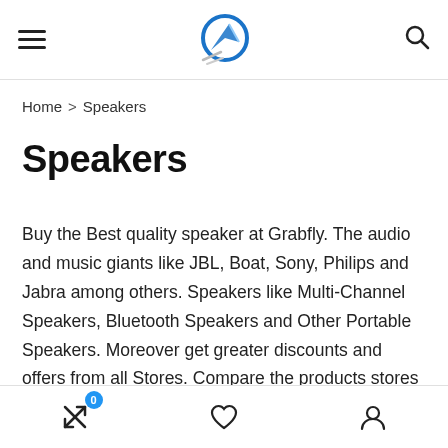Grabfly logo, hamburger menu, search icon
Home > Speakers
Speakers
Buy the Best quality speaker at Grabfly. The audio and music giants like JBL, Boat, Sony, Philips and Jabra among others. Speakers like Multi-Channel Speakers, Bluetooth Speakers and Other Portable Speakers. Moreover get greater discounts and offers from all Stores. Compare the products stores like Amazon, Flipkart, Paytmmall and more.
Cart (0), Wishlist, Account icons